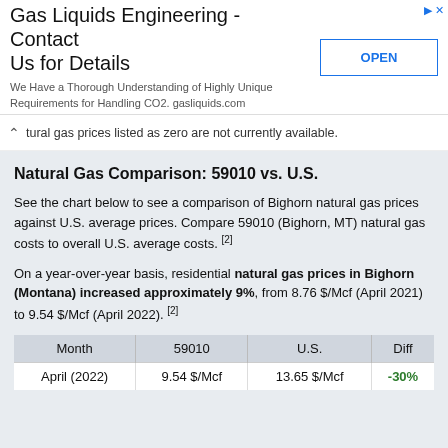[Figure (screenshot): Advertisement banner for Gas Liquids Engineering with title, subtitle text, and an OPEN button]
tural gas prices listed as zero are not currently available.
Natural Gas Comparison: 59010 vs. U.S.
See the chart below to see a comparison of Bighorn natural gas prices against U.S. average prices. Compare 59010 (Bighorn, MT) natural gas costs to overall U.S. average costs. [2]
On a year-over-year basis, residential natural gas prices in Bighorn (Montana) increased approximately 9%, from 8.76 $/Mcf (April 2021) to 9.54 $/Mcf (April 2022). [2]
| Month | 59010 | U.S. | Diff |
| --- | --- | --- | --- |
| April (2022) | 9.54 $/Mcf | 13.65 $/Mcf | -30% |